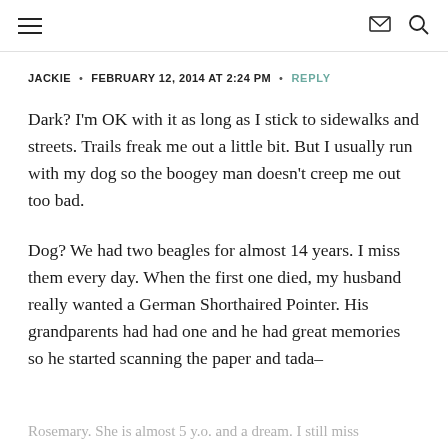≡  ✉ 🔍
JACKIE • FEBRUARY 12, 2014 AT 2:24 PM • REPLY
Dark? I'm OK with it as long as I stick to sidewalks and streets. Trails freak me out a little bit. But I usually run with my dog so the boogey man doesn't creep me out too bad.
Dog? We had two beagles for almost 14 years. I miss them every day. When the first one died, my husband really wanted a German Shorthaired Pointer. His grandparents had had one and he had great memories so he started scanning the paper and tada–
Rosemary. She is almost 5 y.o. and a dream. I still miss